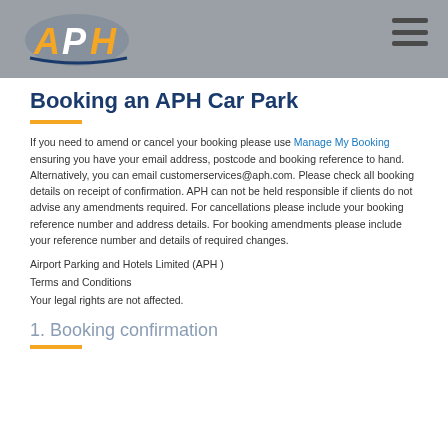[Figure (logo): APH logo — orange and blue stylized letters with wing graphic]
Booking an APH Car Park
If you need to amend or cancel your booking please use Manage My Booking ensuring you have your email address, postcode and booking reference to hand. Alternatively, you can email customerservices@aph.com. Please check all booking details on receipt of confirmation. APH can not be held responsible if clients do not advise any amendments required. For cancellations please include your booking reference number and address details. For booking amendments please include your reference number and details of required changes.
Airport Parking and Hotels Limited (APH )
Terms and Conditions
Your legal rights are not affected.
1. Booking confirmation